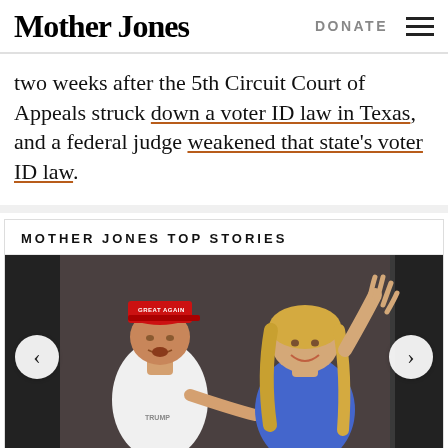Mother Jones | DONATE
two weeks after the 5th Circuit Court of Appeals struck down a voter ID law in Texas, and a federal judge weakened that state's voter ID law.
MOTHER JONES TOP STORIES
[Figure (photo): A man wearing a red MAGA cap and white Trump polo shirt pointing at a blonde woman who is waving with her hand raised, both standing in a doorway]